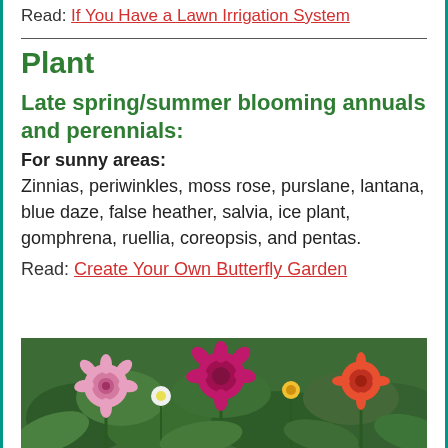Read: If You Have a Lawn Irrigation System
Plant
Late spring/summer blooming annuals and perennials:
For sunny areas:
Zinnias, periwinkles, moss rose, purslane, lantana, blue daze, false heather, salvia, ice plant, gomphrena, ruellia, coreopsis, and pentas.
Read: Create Your Own Butterfly Garden
[Figure (photo): Photograph of colorful blooming flowers including pink and magenta zinnias among green foliage]